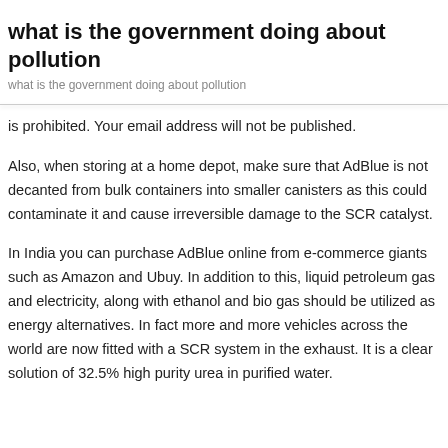what is the government doing about pollution
what is the government doing about pollution
is prohibited. Your email address will not be published.
Also, when storing at a home depot, make sure that AdBlue is not decanted from bulk containers into smaller canisters as this could contaminate it and cause irreversible damage to the SCR catalyst.
In India you can purchase AdBlue online from e-commerce giants such as Amazon and Ubuy. In addition to this, liquid petroleum gas and electricity, along with ethanol and bio gas should be utilized as energy alternatives. In fact more and more vehicles across the world are now fitted with a SCR system in the exhaust. It is a clear solution of 32.5% high purity urea in purified water.